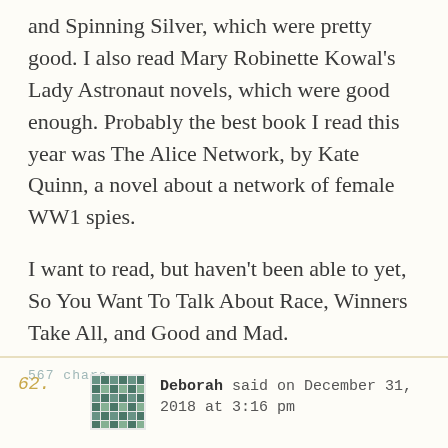and Spinning Silver, which were pretty good. I also read Mary Robinette Kowal's Lady Astronaut novels, which were good enough. Probably the best book I read this year was The Alice Network, by Kate Quinn, a novel about a network of female WW1 spies.

I want to read, but haven't been able to yet, So You Want To Talk About Race, Winners Take All, and Good and Mad.
567 chars
62. Deborah said on December 31, 2018 at 3:16 pm
We are finally out at our cabin in